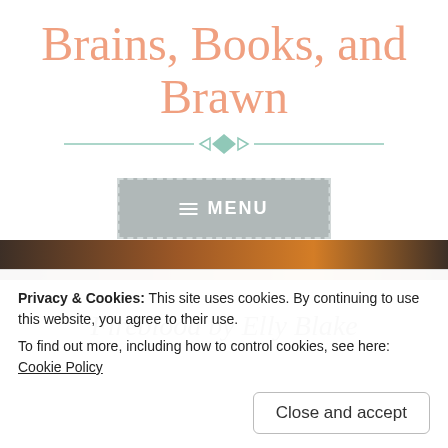Brains, Books, and Brawn
[Figure (illustration): Decorative horizontal divider with teal/mint diamond shape in center and line extending on both sides]
[Figure (screenshot): Gray menu button with hamburger icon and text MENU, dashed border]
Fireblood by Elly Blake
Privacy & Cookies: This site uses cookies. By continuing to use this website, you agree to their use.
To find out more, including how to control cookies, see here: Cookie Policy
Close and accept